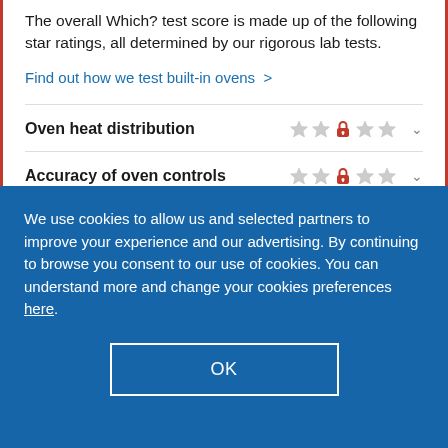The overall Which? test score is made up of the following star ratings, all determined by our rigorous lab tests.
Find out how we test built-in ovens >
Oven heat distribution
Accuracy of oven controls
Preheating speed
We use cookies to allow us and selected partners to improve your experience and our advertising. By continuing to browse you consent to our use of cookies. You can understand more and change your cookies preferences here.
OK